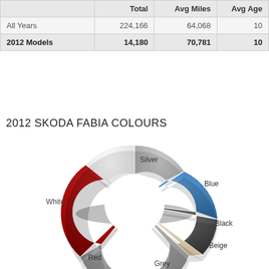|  | Total | Avg Miles | Avg Age |
| --- | --- | --- | --- |
| All Years | 224,166 | 64,068 | 10 |
| 2012 Models | 14,180 | 70,781 | 10 |
2012 SKODA FABIA COLOURS
[Figure (donut-chart): 2012 Skoda Fabia Colours]